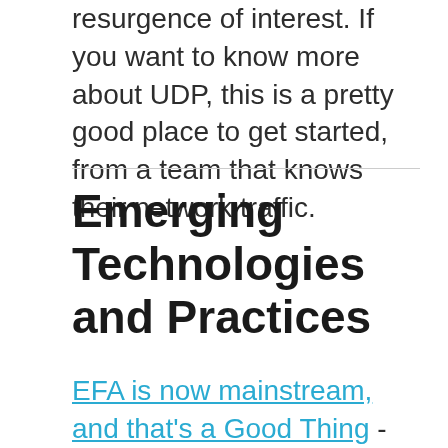resurgence of interest. If you want to know more about UDP, this is a pretty good place to get started, from a team that knows their network traffic.
Emerging Technologies and Practices
EFA is now mainstream, and that’s a Good Thing - Brendan Bouffler